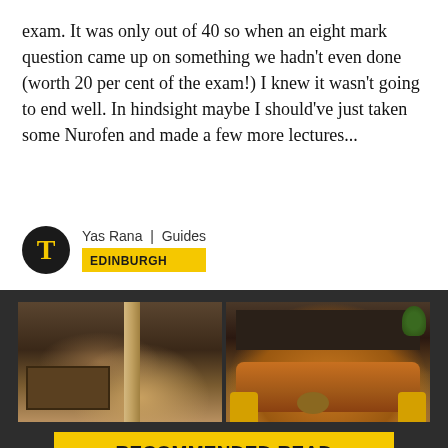exam. It was only out of 40 so when an eight mark question came up on something we hadn't even done (worth 20 per cent of the exam!) I knew it wasn't going to end well. In hindsight maybe I should've just taken some Nurofen and made a few more lectures...
Yas Rana | Guides EDINBURGH
[Figure (photo): Two side-by-side interior photos of Edinburgh student accommodation. Left: industrial-style common area with pool table, exposed ceiling beams, and stone pillar. Right: modern lounge with leather Chesterfield sofa, yellow armchairs, coffee table, built-in shelving with TV, and plants.]
RECOMMENDED READ